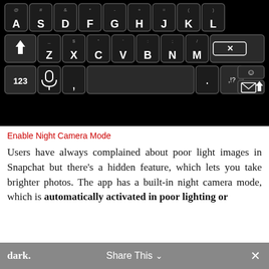[Figure (screenshot): Dark-themed Android keyboard showing QWERTY layout with rows: A S D F G H J K L, Z X C V B N M with shift and backspace keys, and bottom row with 123, microphone, comma, spacebar, period, emoji, and send keys. Black background with glowing key borders.]
Enable Night Camera Mode
Users have always complained about poor light images in Snapchat but there’s a hidden feature, which lets you take brighter photos. The app has a built-in night camera mode, which is automatically activated in poor lighting or dark.
Share This ∨ ×